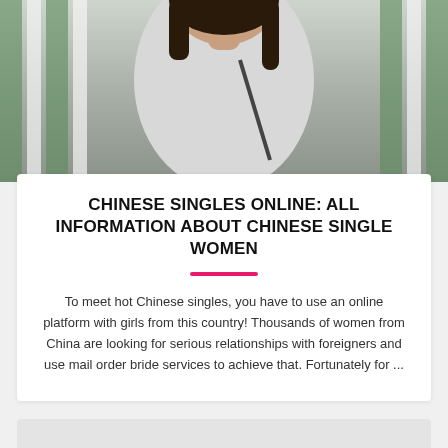[Figure (photo): Photo of a young Asian woman with long dark hair wearing a light grey sweatshirt, standing near green and white vertical fence/railing]
CHINESE SINGLES ONLINE: ALL INFORMATION ABOUT CHINESE SINGLE WOMEN
To meet hot Chinese singles, you have to use an online platform with girls from this country! Thousands of women from China are looking for serious relationships with foreigners and use mail order bride services to achieve that. Fortunately for ...
[Figure (other): Light grey empty card block at the bottom of the page]